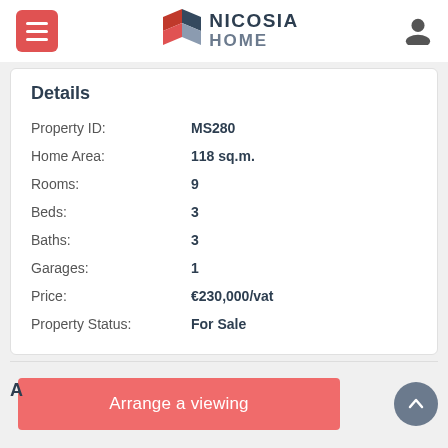Nicosia Home
Details
| Field | Value |
| --- | --- |
| Property ID: | MS280 |
| Home Area: | 118 sq.m. |
| Rooms: | 9 |
| Beds: | 3 |
| Baths: | 3 |
| Garages: | 1 |
| Price: | €230,000/vat |
| Property Status: | For Sale |
Arrange a viewing